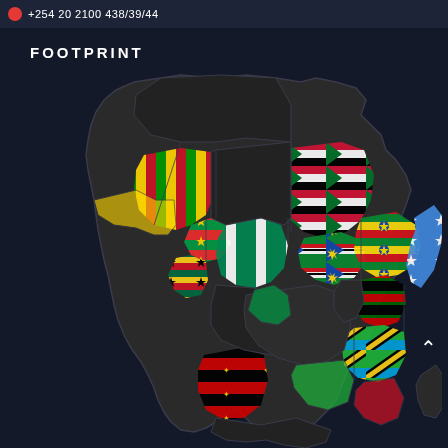+254 20 2100 438/39/44
FOOTPRINT
[Figure (map): Map of Africa with various countries highlighted using their national flags. Countries with visible flags include: Mali (yellow/green/red), Burkina Faso, Ghana, Nigeria (green/white/green), Sudan (red/white/black/green), South Sudan, Ethiopia, Somalia (blue), Uganda, Kenya, Tanzania, Rwanda, Angola, Mozambique, and Madagascar among others. Most North and Central African countries are shown in dark/grey.]